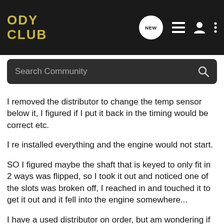ODY CLUB
Search Community
I removed the distributor to change the temp sensor below it, I figured if I put it back in the timing would be correct etc.
I re installed everything and the engine would not start.
SO I figured maybe the shaft that is keyed to only fit in 2 ways was flipped, so I took it out and noticed one of the slots was broken off, I reached in and touched it to get it out and it fell into the engine somewhere...
I have a used distributor on order, but am wondering if there could be any damage done being an interference engine?
I plan on replacing the timing belt, distributor, valve cover gasket, and water pump.. to get this back up and running... I'll